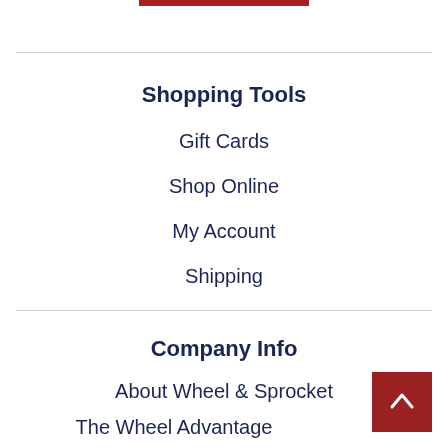Shopping Tools
Gift Cards
Shop Online
My Account
Shipping
Company Info
About Wheel & Sprocket
The Wheel Advantage
Store Locator